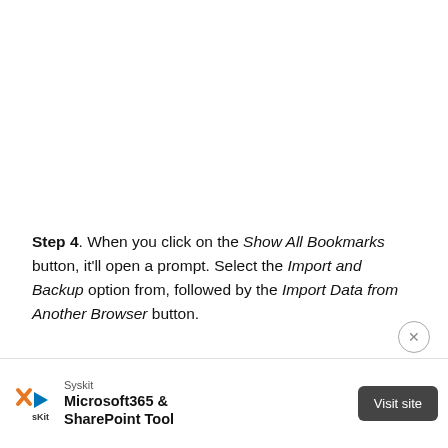Step 4. When you click on the Show All Bookmarks button, it'll open a prompt. Select the Import and Backup option from, followed by the Import Data from Another Browser button.
[Figure (screenshot): Close button (X in circle) in bottom right area of content]
[Figure (screenshot): Advertisement bar: Syskit logo, Microsoft365 & SharePoint Tool text, Visit site button]